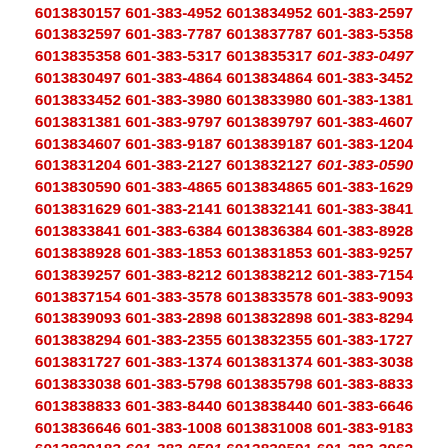6013832370 601-383-4330 6013834330 601-383-5056 6013835056 601-383-3955 6013833955 601-383-3480 6013833480 601-383-4198 6013834198 601-383-0157 6013830157 601-383-4952 6013834952 601-383-2597 6013832597 601-383-7787 6013837787 601-383-5358 6013835358 601-383-5317 6013835317 601-383-0497 6013830497 601-383-4864 6013834864 601-383-3452 6013833452 601-383-3980 6013833980 601-383-1381 6013831381 601-383-9797 6013839797 601-383-4607 6013834607 601-383-9187 6013839187 601-383-1204 6013831204 601-383-2127 6013832127 601-383-0590 6013830590 601-383-4865 6013834865 601-383-1629 6013831629 601-383-2141 6013832141 601-383-3841 6013833841 601-383-6384 6013836384 601-383-8928 6013838928 601-383-1853 6013831853 601-383-9257 6013839257 601-383-8212 6013838212 601-383-7154 6013837154 601-383-3578 6013833578 601-383-9093 6013839093 601-383-2898 6013832898 601-383-8294 6013838294 601-383-2355 6013832355 601-383-1727 6013831727 601-383-1374 6013831374 601-383-3038 6013833038 601-383-5798 6013835798 601-383-8833 6013838833 601-383-8440 6013838440 601-383-6646 6013836646 601-383-1008 6013831008 601-383-9183 6013839183 601-383-0591 6013830591 601-383-3062 6013833062 601-383-7223 6013837223 601-383-2103 6013832103 601-383-5694 6013835694 601-383-1295